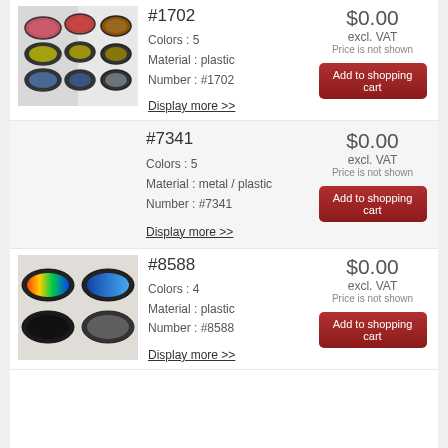[Figure (photo): Display of multiple colorful sunglasses hanging on a retail stand, product #1702]
#1702
Colors : 5
Material : plastic
Number : #1702
$0.00
excl. VAT
Price is not shown
Display more >>
Add to shopping cart
#7341
Colors : 5
Material : metal / plastic
Number : #7341
$0.00
excl. VAT
Price is not shown
Display more >>
Add to shopping cart
[Figure (photo): Four wraparound shield sunglasses in colorful mirror, blue, black, and grey, product #8588]
#8588
Colors : 4
Material : plastic
Number : #8588
$0.00
excl. VAT
Price is not shown
Display more >>
Add to shopping cart